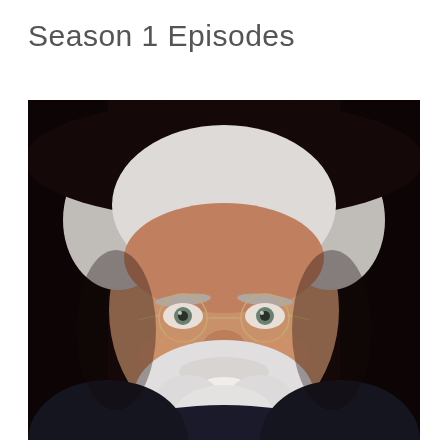Season 1 Episodes
[Figure (photo): Headshot portrait of an older man with white hair, round wire-rimmed glasses, and a white beard, smiling, wearing a dark jacket, against a dark background.]